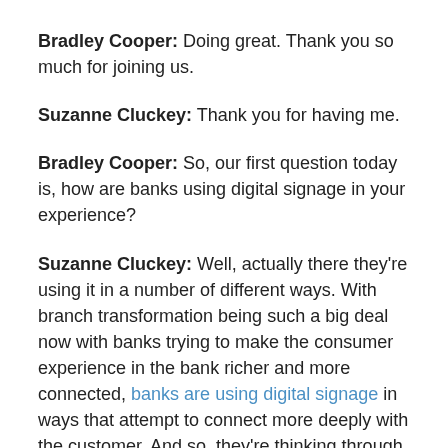Bradley Cooper: Doing great. Thank you so much for joining us.
Suzanne Cluckey: Thank you for having me.
Bradley Cooper: So, our first question today is, how are banks using digital signage in your experience?
Suzanne Cluckey: Well, actually there they're using it in a number of different ways. With branch transformation being such a big deal now with banks trying to make the consumer experience in the bank richer and more connected, banks are using digital signage in ways that attempt to connect more deeply with the customer. And so, they're thinking through the customer experience,